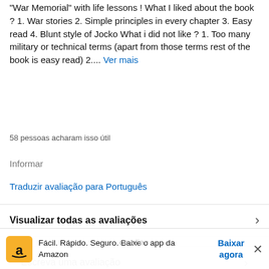"War Memorial" with life lessons ! What I liked about the book ? 1. War stories 2. Simple principles in every chapter 3. Easy read 4. Blunt style of Jocko What i did not like ? 1. Too many military or technical terms (apart from those terms rest of the book is easy read) 2.... Ver mais
58 pessoas acharam isso útil
Informar
Traduzir avaliação para Português
Visualizar todas as avaliações
Escreva uma avaliação
Fácil. Rápido. Seguro. Baixe o app da Amazon